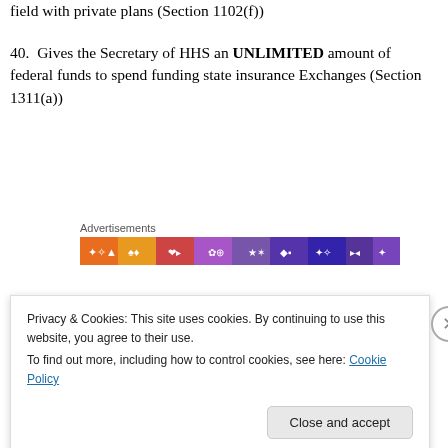field with private plans (Section 1102(f))
40.  Gives the Secretary of HHS an UNLIMITED amount of federal funds to spend funding state insurance Exchanges (Section 1311(a))
[Figure (other): Advertisements banner with colorful social media icons strip]
41.  Creates a grant program that could be used by liberal groups like ACORN or AARP to conduct “public education activities” surrounding Obamacare (Section 1311(i))
Privacy & Cookies: This site uses cookies. By continuing to use this website, you agree to their use. To find out more, including how to control cookies, see here: Cookie Policy